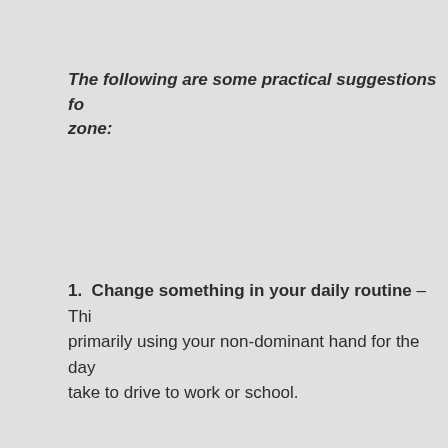The following are some practical suggestions fo… zone:
1.  Change something in your daily routine – Thi… primarily using your non-dominant hand for the day… take to drive to work or school.